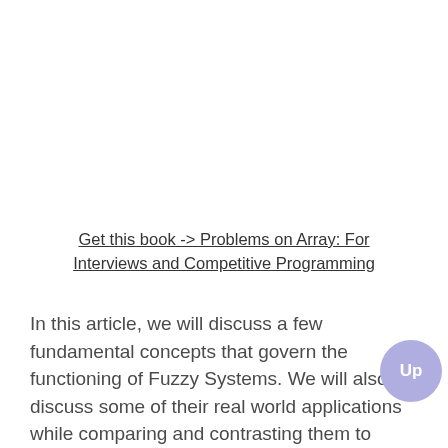Get this book -> Problems on Array: For Interviews and Competitive Programming
In this article, we will discuss a few fundamental concepts that govern the functioning of Fuzzy Systems. We will also discuss some of their real world applications while comparing and contrasting them to Crisp (Hard Computing) Systems.